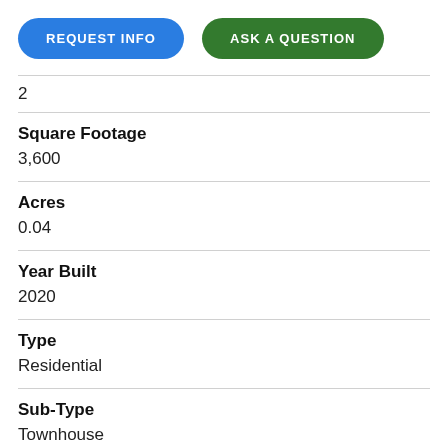REQUEST INFO
ASK A QUESTION
2
Square Footage
3,600
Acres
0.04
Year Built
2020
Type
Residential
Sub-Type
Townhouse